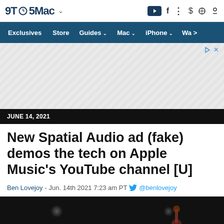9TO5Mac
Exclusives | Store | Guides | Mac | iPhone | Wa >
[Figure (screenshot): Advertisement placeholder area with diagonal hatching pattern and ad icon buttons]
JUNE 14, 2021
New Spatial Audio ad (fake) demos the tech on Apple Music's YouTube channel [U]
Ben Lovejoy - Jun. 14th 2021 7:23 am PT @benlovejoy
[Figure (photo): Dark concert/performance scene with spotlight lights and a hand silhouette visible at the bottom of the page]